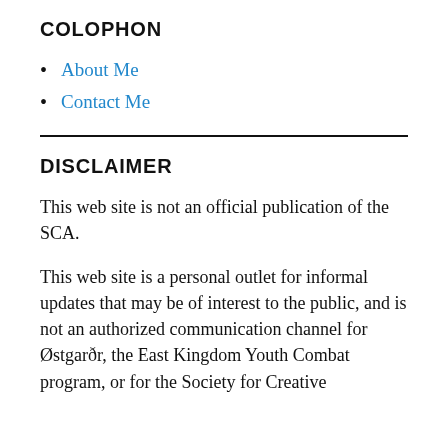COLOPHON
About Me
Contact Me
DISCLAIMER
This web site is not an official publication of the SCA.
This web site is a personal outlet for informal updates that may be of interest to the public, and is not an authorized communication channel for Østgarðr, the East Kingdom Youth Combat program, or for the Society for Creative